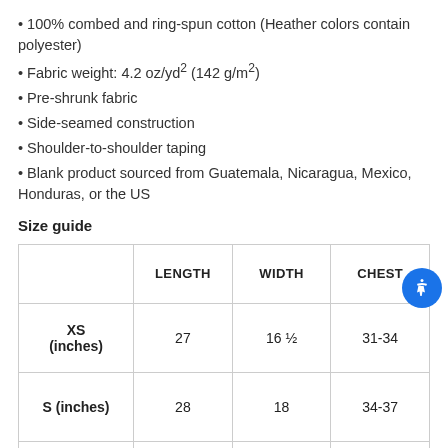100% combed and ring-spun cotton (Heather colors contain polyester)
Fabric weight: 4.2 oz/yd² (142 g/m²)
Pre-shrunk fabric
Side-seamed construction
Shoulder-to-shoulder taping
Blank product sourced from Guatemala, Nicaragua, Mexico, Honduras, or the US
Size guide
|  | LENGTH | WIDTH | CHEST |
| --- | --- | --- | --- |
| XS (inches) | 27 | 16 ½ | 31-34 |
| S (inches) | 28 | 18 | 34-37 |